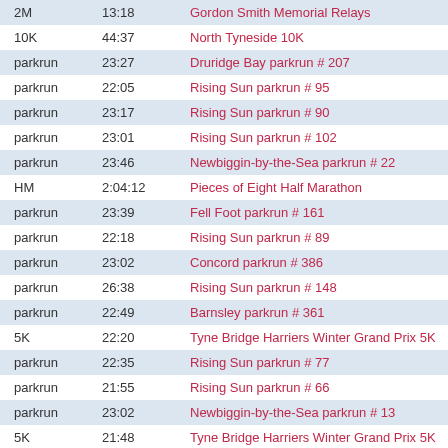| Distance | Time | Event |
| --- | --- | --- |
| 2M | 13:18 | Gordon Smith Memorial Relays |
| 10K | 44:37 | North Tyneside 10K |
| parkrun | 23:27 | Druridge Bay parkrun # 207 |
| parkrun | 22:05 | Rising Sun parkrun # 95 |
| parkrun | 23:17 | Rising Sun parkrun # 90 |
| parkrun | 23:01 | Rising Sun parkrun # 102 |
| parkrun | 23:46 | Newbiggin-by-the-Sea parkrun # 22 |
| HM | 2:04:12 | Pieces of Eight Half Marathon |
| parkrun | 23:39 | Fell Foot parkrun # 161 |
| parkrun | 22:18 | Rising Sun parkrun # 89 |
| parkrun | 23:02 | Concord parkrun # 386 |
| parkrun | 26:38 | Rising Sun parkrun # 148 |
| parkrun | 22:49 | Barnsley parkrun # 361 |
| 5K | 22:20 | Tyne Bridge Harriers Winter Grand Prix 5K |
| parkrun | 22:35 | Rising Sun parkrun # 77 |
| parkrun | 21:55 | Rising Sun parkrun # 66 |
| parkrun | 23:02 | Newbiggin-by-the-Sea parkrun # 13 |
| 5K | 21:48 | Tyne Bridge Harriers Winter Grand Prix 5K |
| 10K | 45:20 | Heaton Harriers Memorial 10K |